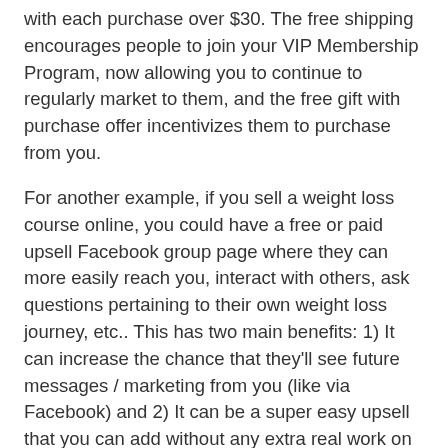with each purchase over $30. The free shipping encourages people to join your VIP Membership Program, now allowing you to continue to regularly market to them, and the free gift with purchase offer incentivizes them to purchase from you.
For another example, if you sell a weight loss course online, you could have a free or paid upsell Facebook group page where they can more easily reach you, interact with others, ask questions pertaining to their own weight loss journey, etc.. This has two main benefits: 1) It can increase the chance that they'll see future messages / marketing from you (like via Facebook) and 2) It can be a super easy upsell that you can add without any extra real work on your part to initially make it! For instance, you can sell access and include the ability to ask you any question and get a response from an expert, which in the eyes of a lot of prospects can be a huge value. However, to you, it might be something super easy that you might do anyway (answering your customers) but now you can get paid for it!
So consider creating a membership program, where your customers become part of a community, and receive special